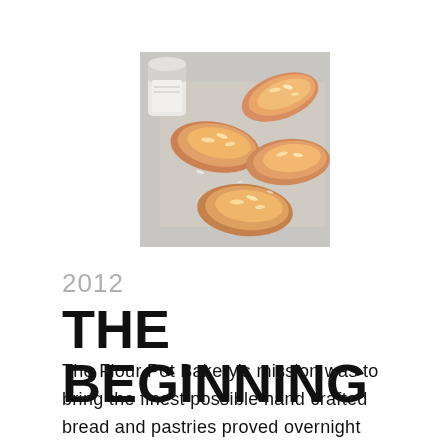[Figure (photo): Overhead photo of golden almond croissants on a baking tray with a small tin of sugar in the top-left corner]
2012
THE BEGINNING
The Flour Pot Bakery's mission was to bring the finest possible hand crafted bread and pastries proved overnight and delivered and baked on site.